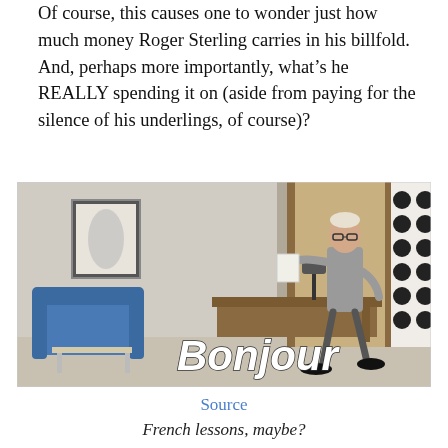Of course, this causes one to wonder just how much money Roger Sterling carries in his billfold.  And, perhaps more importantly, what’s he REALLY spending it on (aside from paying for the silence of his underlings, of course)?
[Figure (photo): A man in a grey suit walking into a mid-century modern office room, with text overlay reading 'Bonjour' in bold white italic font. The room has a blue armchair, wooden desk, and a polka-dot patterned partition.]
Source
French lessons, maybe?